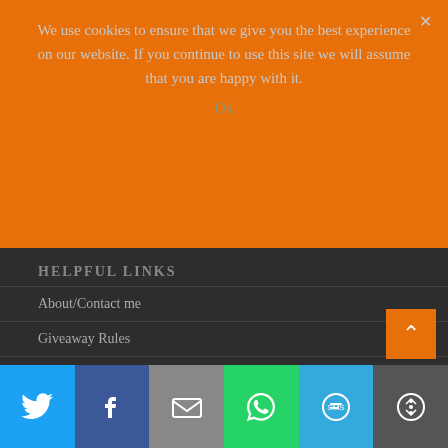We use cookies to ensure that we give you the best experience on our website. If you continue to use this site we will assume that you are happy with it.
Ok
HELPFUL LINKS
About/Contact me
Giveaway Rules
PR Info/Media Kit
Disclaimer/Disclosure
Privacy Policy
[Figure (screenshot): Social share bar with Twitter, Facebook, Email, WhatsApp, SMS, and More buttons]